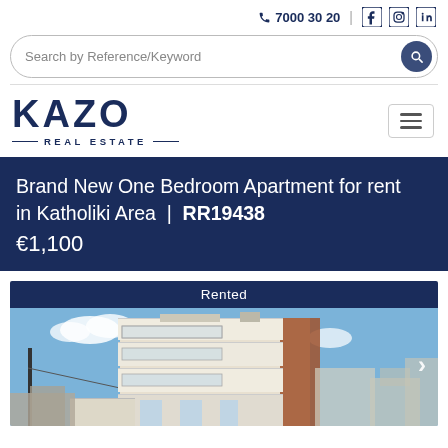7000 30 20
Search by Reference/Keyword
[Figure (logo): KAZO REAL ESTATE logo in dark navy blue]
Brand New One Bedroom Apartment for rent in Katholiki Area | RR19438
€1,100
[Figure (photo): Brand new modern apartment building with white facades, glass balconies, and brick accent panels under a blue sky. A 'Rented' status bar appears at the top of the image.]